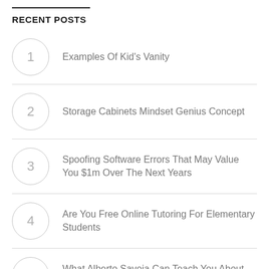RECENT POSTS
Examples Of Kid's Vanity
Storage Cabinets Mindset Genius Concept
Spoofing Software Errors That May Value You $1m Over The Next Years
Are You Free Online Tutoring For Elementary Students
What Alberto Savoia Can Teach You About Coda